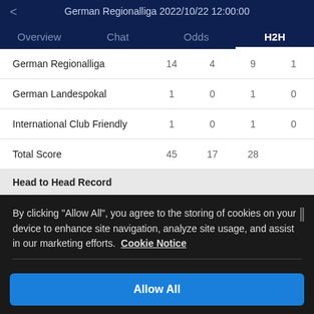German Regionalliga 2022/10/22 12:00:00
Overview  Chat  Odds  H2H
|  |  |  |  |  |
| --- | --- | --- | --- | --- |
| German Regionalliga | 14 | 4 | 9 | 1 |
| German Landespokal | 1 | 0 | 1 | 0 |
| International Club Friendly | 1 | 0 | 1 | 0 |
| Total Score | 45 | 17 | 28 |  |
Head to Head Record
By clicking "Allow All", you agree to the storing of cookies on your device to enhance site navigation, analyze site usage, and assist in our marketing efforts.  Cookie Notice
Allow All
Customize Settings